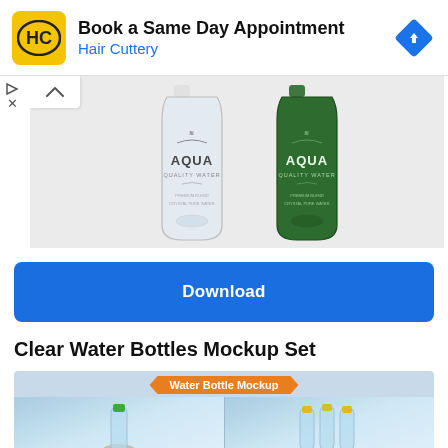[Figure (screenshot): Advertisement banner for Hair Cuttery with yellow HC logo, text 'Book a Same Day Appointment' and 'Hair Cuttery' in blue, and blue navigation diamond icon on the right]
[Figure (photo): Two AQUA Quality Water bottles side by side — one clear/transparent and one dark green — on a light grey background, with a chevron-up button on the left]
[Figure (screenshot): Blue Download button]
Clear Water Bottles Mockup Set
[Figure (photo): Water Bottle Mockup banner image showing two panels: left panel with a single green-capped water bottle held by a hand, right panel with three yellow-capped water bottles, both on a blue sky background with an orange ribbon label reading 'Water Bottle Mockup']